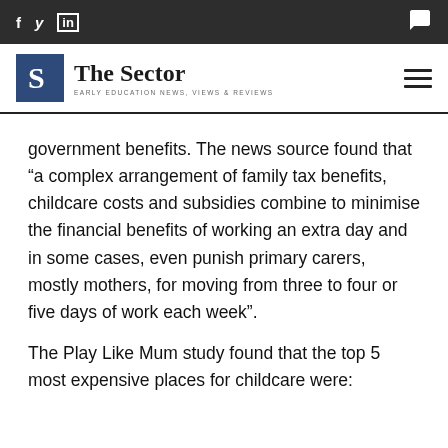f  y  in  [comment icon]
[Figure (logo): The Sector logo - blue box with S letter, text 'The Sector' with tagline 'EARLY EDUCATION NEWS, VIEWS & REVIEWS']
government benefits. The news source found that “a complex arrangement of family tax benefits, childcare costs and subsidies combine to minimise the financial benefits of working an extra day and in some cases, even punish primary carers, mostly mothers, for moving from three to four or five days of work each week”.
The Play Like Mum study found that the top 5 most expensive places for childcare were: